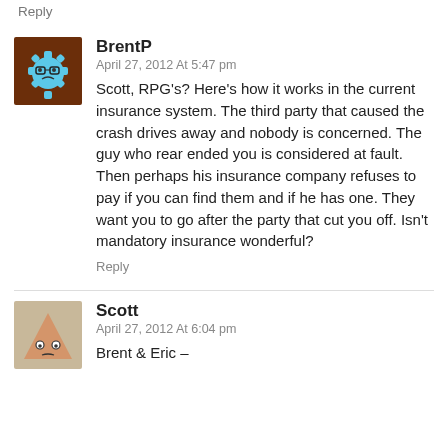Reply
[Figure (illustration): Avatar of BrentP: cartoon gear character with glasses on brown background]
BrentP
April 27, 2012 At 5:47 pm
Scott, RPG's? Here's how it works in the current insurance system. The third party that caused the crash drives away and nobody is concerned. The guy who rear ended you is considered at fault. Then perhaps his insurance company refuses to pay if you can find them and if he has one. They want you to go after the party that cut you off. Isn't mandatory insurance wonderful?
Reply
[Figure (illustration): Avatar of Scott: cartoon triangular character with eyes on tan/beige background]
Scott
April 27, 2012 At 6:04 pm
Brent & Eric –